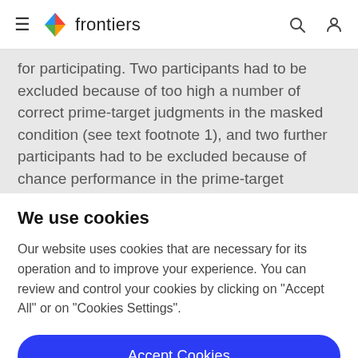frontiers
for participating. Two participants had to be excluded because of too high a number of correct prime-target judgments in the masked condition (see text footnote 1), and two further participants had to be excluded because of chance performance in the prime-target judgments of
We use cookies
Our website uses cookies that are necessary for its operation and to improve your experience. You can review and control your cookies by clicking on "Accept All" or on "Cookies Settings".
Accept Cookies
Cookies Settings